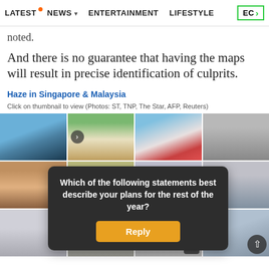LATEST  NEWS  ENTERTAINMENT  LIFESTYLE  EC
noted.
And there is no guarantee that having the maps will result in precise identification of culprits.
Haze in Singapore & Malaysia
Click on thumbnail to view (Photos: ST, TNP, The Star, AFP, Reuters)
[Figure (photo): Photo gallery grid showing haze-related images from Singapore and Malaysia: city skyline, construction workers, performers with masks, subway passengers wearing masks, street scenes.]
Which of the following statements best describe your plans for the rest of the year?
Reply